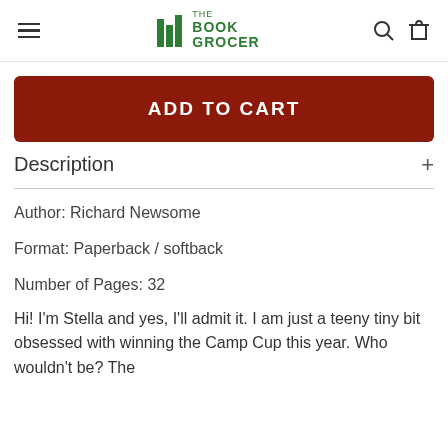THE BOOK GROCER
ADD TO CART
Description
Author: Richard Newsome
Format: Paperback / softback
Number of Pages: 32
Hi! I'm Stella and yes, I'll admit it. I am just a teeny tiny bit obsessed with winning the Camp Cup this year. Who wouldn't be? The